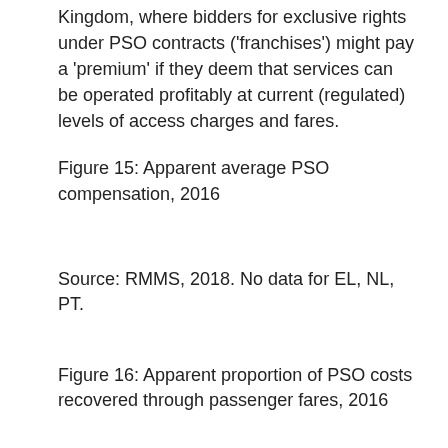Kingdom, where bidders for exclusive rights under PSO contracts ('franchises') might pay a 'premium' if they deem that services can be operated profitably at current (regulated) levels of access charges and fares.
Figure 15: Apparent average PSO compensation, 2016
Source: RMMS, 2018. No data for EL, NL, PT.
Figure 16: Apparent proportion of PSO costs recovered through passenger fares, 2016
Source: RMMS, 2018. No data for FR and SI.
Licensing